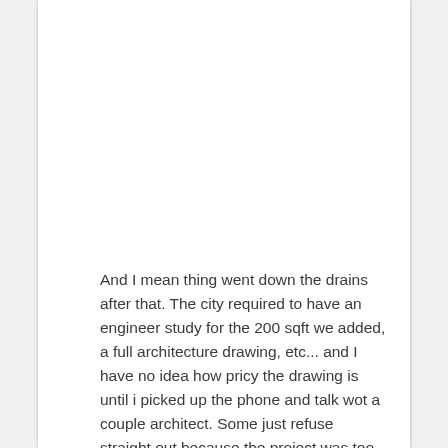And I mean thing went down the drains after that. The city required to have an engineer study for the 200 sqft we added, a full architecture drawing, etc... and I have no idea how pricy the drawing is until i picked up the phone and talk wot a couple architect. Some just refuse straight out because the project was too small for them.